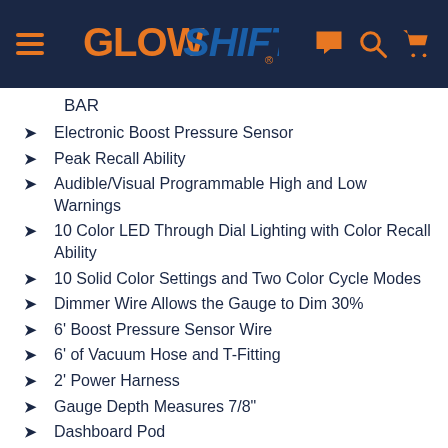[Figure (logo): GlowShift logo in orange and blue on dark navy header bar with menu icon, chat icon, search icon, and cart icon]
BAR
Electronic Boost Pressure Sensor
Peak Recall Ability
Audible/Visual Programmable High and Low Warnings
10 Color LED Through Dial Lighting with Color Recall Ability
10 Solid Color Settings and Two Color Cycle Modes
Dimmer Wire Allows the Gauge to Dim 30%
6' Boost Pressure Sensor Wire
6' of Vacuum Hose and T-Fitting
2' Power Harness
Gauge Depth Measures 7/8"
Dashboard Pod
Gauge Visor